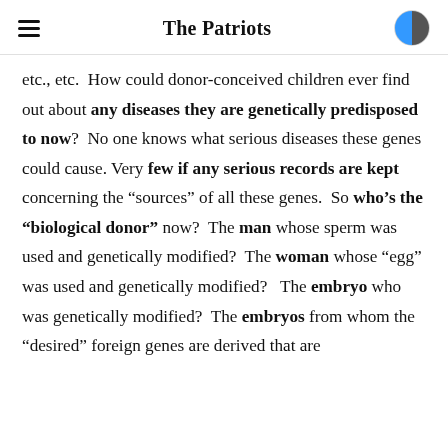The Patriots
etc., etc.  How could donor-conceived children ever find out about any diseases they are genetically predisposed to now?  No one knows what serious diseases these genes could cause.  Very few if any serious records are kept concerning the “sources” of all these genes.  So who’s the “biological donor” now?  The man whose sperm was used and genetically modified?  The woman whose “egg” was used and genetically modified?   The embryo who was genetically modified?  The embryos from whom the “desired” foreign genes are derived that are